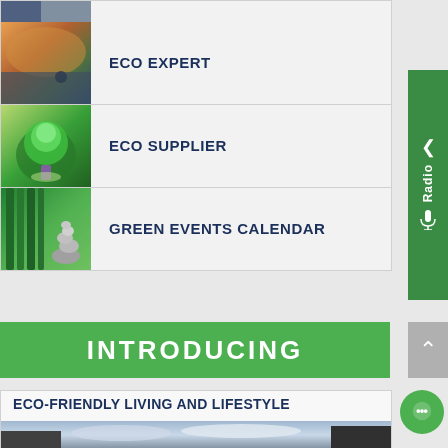[Figure (photo): Partial image visible at top of menu list]
Eco Expert
Eco Supplier
Green Events Calendar
INTRODUCING
Eco-Friendly Living and Lifestyle
[Figure (photo): Landscape photo at bottom of page]